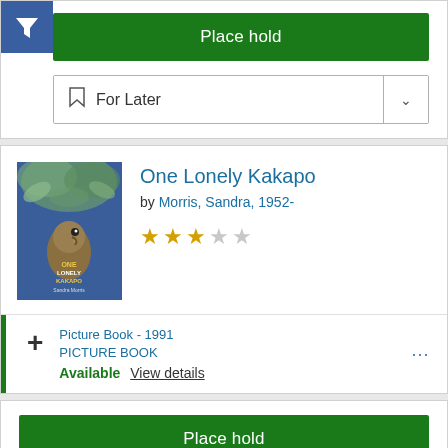[Figure (screenshot): Filter button with funnel icon in blue/navy square]
Place hold
For Later
One Lonely Kakapo
by Morris, Sandra, 1952-
[Figure (illustration): Book cover for One Lonely Kakapo showing a bird on a blue background]
★★★☆☆ (2.5 stars rating)
Picture Book - 1991
PICTURE BOOK
Available View details
Place hold